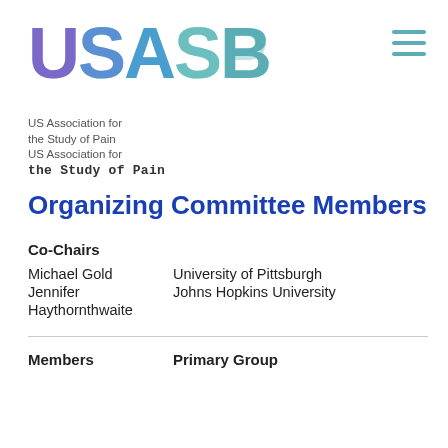[Figure (logo): USASP logo with overlapping colorful letters and tagline 'US Association for the Study of Pain']
Organizing Committee Members
Co-Chairs
Michael Gold    University of Pittsburgh
Jennifer Haythornthwaite    Johns Hopkins University
Members    Primary Group